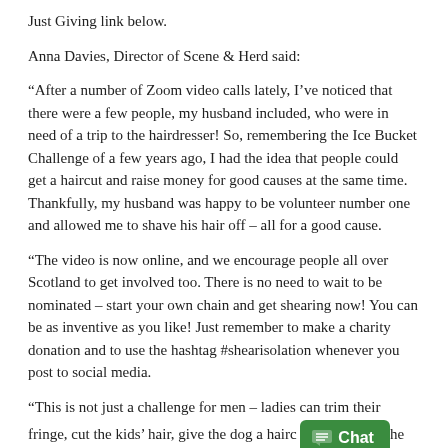Just Giving link below.
Anna Davies, Director of Scene & Herd said:
“After a number of Zoom video calls lately, I’ve noticed that there were a few people, my husband included, who were in need of a trip to the hairdresser! So, remembering the Ice Bucket Challenge of a few years ago, I had the idea that people could get a haircut and raise money for good causes at the same time. Thankfully, my husband was happy to be volunteer number one and allowed me to shave his hair off – all for a good cause.
“The video is now online, and we encourage people all over Scotland to get involved too. There is no need to wait to be nominated – start your own chain and get shearing now! You can be as inventive as you like! Just remember to make a charity donation and to use the hashtag #shearisolation whenever you post to social media.
“This is not just a challenge for men – ladies can trim their fringe, cut the kids’ hair, give the dog a hairc [Chat] he whole hogg if they are brave enough!